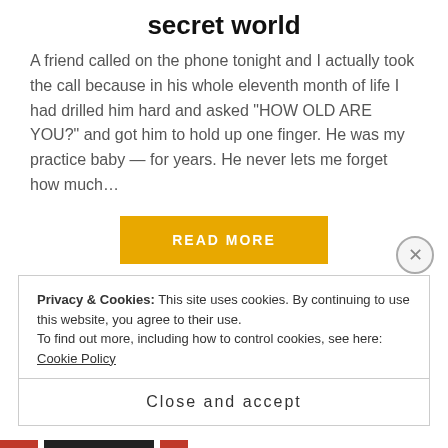secret world
A friend called on the phone tonight and I actually took the call because in his whole eleventh month of life I had drilled him hard and asked “HOW OLD ARE YOU?” and got him to hold up one finger. He was my practice baby — for years. He never lets me forget how much…
[Figure (other): READ MORE button in amber/gold color]
start learning it, and planning a comic book version
Privacy & Cookies: This site uses cookies. By continuing to use this website, you agree to their use.
To find out more, including how to control cookies, see here: Cookie Policy
Close and accept